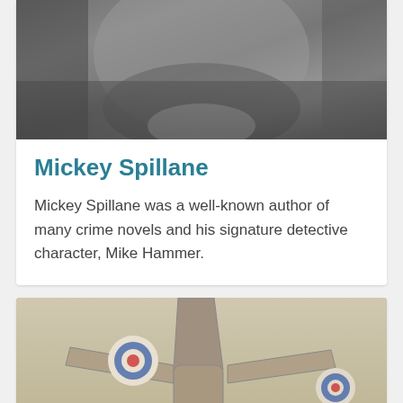[Figure (photo): Black and white close-up photograph of a man's face, partially cropped, showing lower portion of face and upper body in a jacket]
Mickey Spillane
Mickey Spillane was a well-known author of many crime novels and his signature detective character, Mike Hammer.
[Figure (photo): Sepia-toned photograph of people standing around a propeller aircraft, showing the tail section with RAF roundel marking and several people posing near the plane]